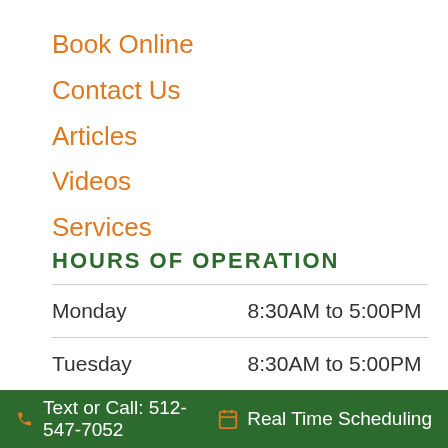Book Online
Contact Us
Articles
Videos
Services
HOURS OF OPERATION
| Day | Hours |
| --- | --- |
| Monday | 8:30AM to 5:00PM |
| Tuesday | 8:30AM to 5:00PM |
| Wednesday | 8:30AM to 5:00PM |
| Thursday | 8:30AM to 5:00PM |
Text or Call: 512-547-7052   Real Time Scheduling